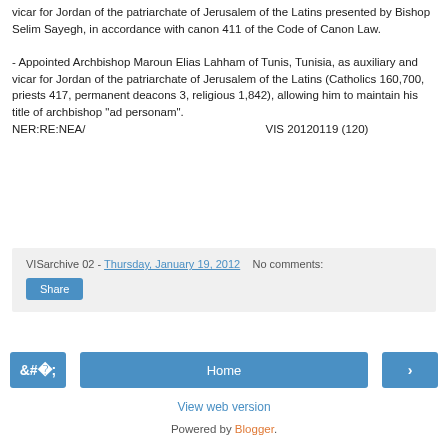vicar for Jordan of the patriarchate of Jerusalem of the Latins presented by Bishop Selim Sayegh, in accordance with canon 411 of the Code of Canon Law.

 - Appointed Archbishop Maroun Elias Lahham of Tunis, Tunisia, as auxiliary and vicar for Jordan of the patriarchate of Jerusalem of the Latins (Catholics 160,700, priests 417, permanent deacons 3, religious 1,842), allowing him to maintain his title of archbishop "ad personam".
NER:RE:NEA/                    VIS 20120119 (120)
VISarchive 02 - Thursday, January 19, 2012     No comments:
Share
‹
Home
›
View web version
Powered by Blogger.